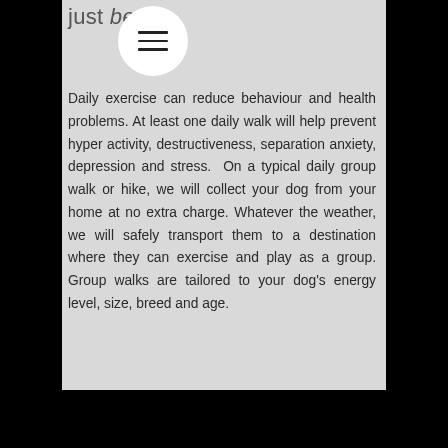just be d
Daily exercise can reduce behaviour and health problems. At least one daily walk will help prevent hyper activity, destructiveness, separation anxiety, depression and stress. On a typical daily group walk or hike, we will collect your dog from your home at no extra charge. Whatever the weather, we will safely transport them to a destination where they can exercise and play as a group. Group walks are tailored to your dog's energy level, size, breed and age.